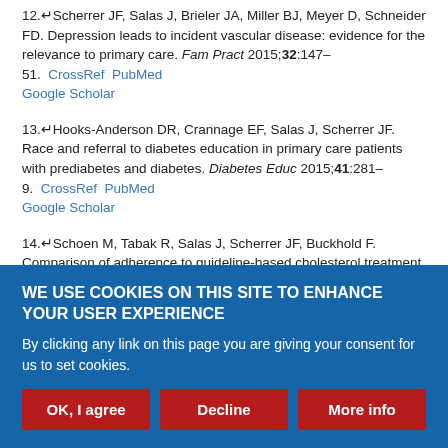12. Scherrer JF, Salas J, Brieler JA, Miller BJ, Meyer D, Schneider FD. Depression leads to incident vascular disease: evidence for the relevance to primary care. Fam Pract 2015;32:147–51. CrossRef PubMed Google Scholar
13. Hooks-Anderson DR, Crannage EF, Salas J, Scherrer JF. Race and referral to diabetes education in primary care patients with prediabetes and diabetes. Diabetes Educ 2015;41:281–9. CrossRef PubMed Google Scholar
14. Schoen M, Tabak R, Salas J, Scherrer JF, Buckhold F. Comparison of adherence to guideline-based cholesterol treatment goals in men versus women. Am J Cardiol 2016;117:48–53. Google Scholar
WE USE COOKIES ON THIS SITE TO ENHANCE YOUR USER EXPERIENCE
By clicking any link on this page you are giving your consent for us to set cookies.